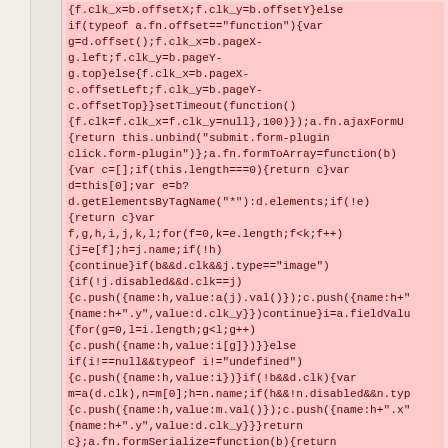{f.clk_x=b.offsetX;f.clk_y=b.offsetY}else if(typeof a.fn.offset=="function"){var g=d.offset();f.clk_x=b.pageX-g.left;f.clk_y=b.pageY-g.top}else{f.clk_x=b.pageX-c.offsetLeft;f.clk_y=b.pageY-c.offsetTop}}setTimeout(function(){f.clk=f.clk_x=f.clk_y=null},100)});a.fn.ajaxFormU{return this.unbind("submit.form-plugin click.form-plugin")};a.fn.formToArray=function(b){var c=[];if(this.length===0){return c}var d=this[0];var e=b?d.getElementsByTagName("*"):d.elements;if(!e){return c}var f,g,h,i,j,k,l;for(f=0,k=e.length;f<k;f++){j=e[f];h=j.name;if(!h){continue}if(b&&d.clk&&j.type=="image"){if(!j.disabled&&d.clk==j){c.push({name:h,value:a(j).val()});c.push({name:h+".x",value:d.clk_x});{name:h+".y",value:d.clk_y}})continue}i=a.fieldValu{for(g=0,l=i.length;g<l;g++){c.push({name:h,value:i[g]})}}else if(i!==null&&typeof i!="undefined"){c.push({name:h,value:i})}if(!b&&d.clk){var m=a(d.clk),n=m[0];h=n.name;if(h&&!n.disabled&&n.typ{c.push({name:h,value:m.val()});c.push({name:h+".x",value:d.clk_x});{name:h+".y",value:d.clk_y}}}return c};a.fn.formSerialize=function(b){return a.param(this.formToArray(b))};a.fn.fieldSerialize=f{var c=[];this.each(function(){var d=this.name;if(!d){return}var e=a.fieldValue(this,b);if(e&&e.constructor==Array){for(var f=0,g=e.length;f<g;f++){c.push({name:d,value:e[f]})}}else if(e!==null&&typeof e!="undefined"){c.push({name:this.name,value:e})}}); return a.param(c)};a.fn.fieldValue=function(b){for(var c=[],d=0,e=this.length;d<e;d++){var f=this[d];var